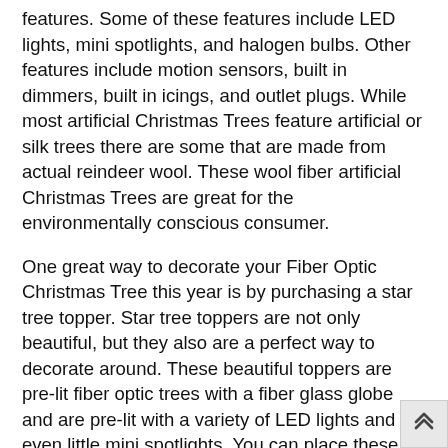features. Some of these features include LED lights, mini spotlights, and halogen bulbs. Other features include motion sensors, built in dimmers, built in icings, and outlet plugs. While most artificial Christmas Trees feature artificial or silk trees there are some that are made from actual reindeer wool. These wool fiber artificial Christmas Trees are great for the environmentally conscious consumer.
One great way to decorate your Fiber Optic Christmas Tree this year is by purchasing a star tree topper. Star tree toppers are not only beautiful, but they also are a perfect way to decorate around. These beautiful toppers are pre-lit fiber optic trees with a fiber glass globe and are pre-lit with a variety of LED lights and even little mini spotlights. You can place these stars virtually anywhere inside or outside your home. No matter which way you decide to go with your Fiber Optic Christmas Tree this year, you will be sure to love all of the beautiful trees that are available.